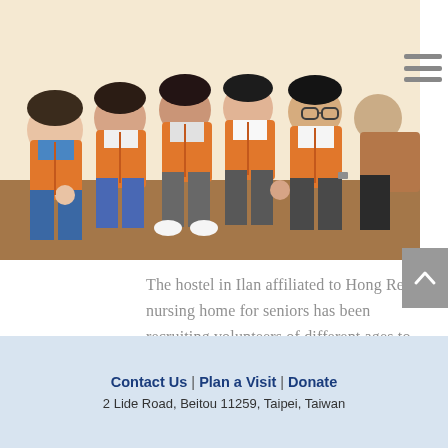[Figure (photo): Group of volunteers in orange vests posing together indoors, crouching and sitting on a wooden floor]
The hostel in Ilan affiliated to Hong Ren nursing home for seniors has been recruiting volunteers of different ages to foster dialogue and exchange across generations.
Contact Us | Plan a Visit | Donate
2 Lide Road, Beitou 11259, Taipei, Taiwan